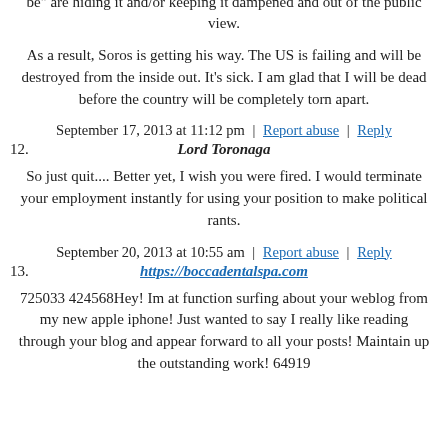bullying are the right way to go.
People know the answer. The media and the shadow "powers that be" are hiding it and/or keeping it dampened and out of the public view.
As a result, Soros is getting his way. The US is failing and will be destroyed from the inside out. It's sick. I am glad that I will be dead before the country will be completely torn apart.
September 17, 2013 at 11:12 pm | Report abuse | Reply
Lord Toronaga
So just quit.... Better yet, I wish you were fired. I would terminate your employment instantly for using your position to make political rants.
September 20, 2013 at 10:55 am | Report abuse | Reply
https://boccadentalspa.com
725033 424568Hey! Im at function surfing about your weblog from my new apple iphone! Just wanted to say I really like reading through your blog and appear forward to all your posts! Maintain up the outstanding work! 64919